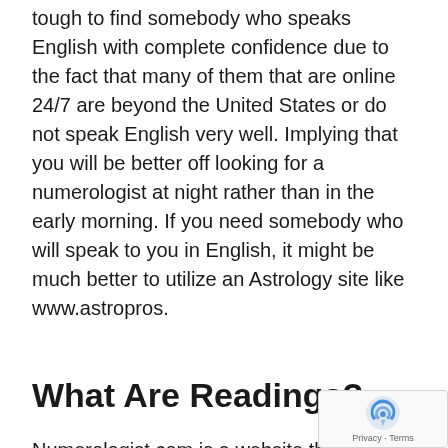tough to find somebody who speaks English with complete confidence due to the fact that many of them that are online 24/7 are beyond the United States or do not speak English very well. Implying that you will be better off looking for a numerologist at night rather than in the early morning. If you need somebody who will speak to you in English, it might be much better to utilize an Astrology site like www.astropros.
What Are Readings?
Numerologist.com is a website that can be utilized to find people's character characteristics, learn more about their past lives, and discover what the future holds for